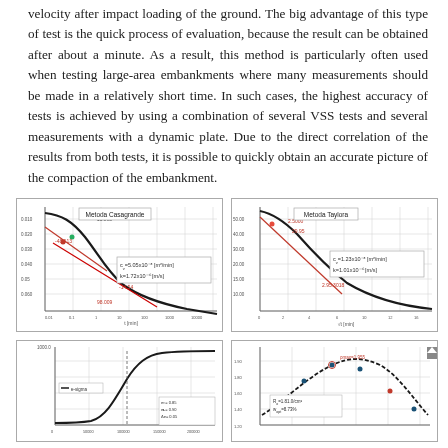velocity after impact loading of the ground. The big advantage of this type of test is the quick process of evaluation, because the result can be obtained after about a minute. As a result, this method is particularly often used when testing large-area embankments where many measurements should be made in a relatively short time. In such cases, the highest accuracy of tests is achieved by using a combination of several VSS tests and several measurements with a dynamic plate. Due to the direct correlation of the results from both tests, it is possible to quickly obtain an accurate picture of the compaction of the embankment.
[Figure (continuous-plot): Casagrande method consolidation curve (logarithmic time scale), showing two tangent lines in red intersecting to determine consolidation coefficient. Annotations: cv=5.05x10^-3 [m^2/min], k=1.72x10^-6 [m/s]]
[Figure (continuous-plot): Taylor method consolidation curve (square root of time scale), showing tangent line in red. Annotations: cv=1.23x10^-3 [m^2/min], k=1.01x10^-6 [m/s]]
[Figure (continuous-plot): Bottom-left figure showing consolidation/compaction curve with legend and parameter table]
[Figure (continuous-plot): Bottom-right figure showing Proctor compaction curve with annotation Ro=1.81.0/cm3, wopt=8.73%]